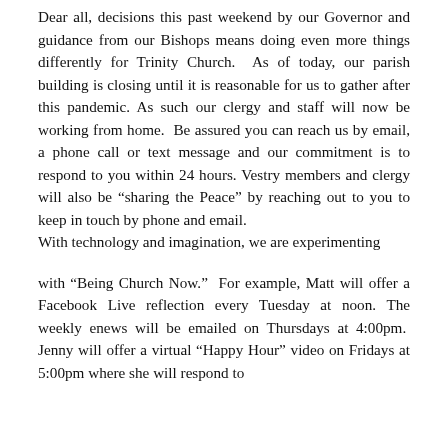Dear all, decisions this past weekend by our Governor and guidance from our Bishops means doing even more things differently for Trinity Church. As of today, our parish building is closing until it is reasonable for us to gather after this pandemic. As such our clergy and staff will now be working from home. Be assured you can reach us by email, a phone call or text message and our commitment is to respond to you within 24 hours. Vestry members and clergy will also be “sharing the Peace” by reaching out to you to keep in touch by phone and email. With technology and imagination, we are experimenting
with “Being Church Now.” For example, Matt will offer a Facebook Live reflection every Tuesday at noon. The weekly enews will be emailed on Thursdays at 4:00pm. Jenny will offer a virtual “Happy Hour” video on Fridays at 5:00pm where she will respond to